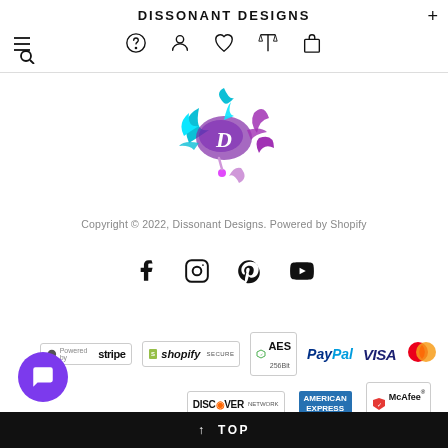DISSONANT DESIGNS
[Figure (logo): Dissonant Designs logo: colorful paint splatter in cyan, purple, and magenta with a white letter D in the center]
Copyright © 2022, Dissonant Designs. Powered by Shopify
[Figure (infographic): Social media icons: Facebook, Instagram, Pinterest, YouTube]
[Figure (infographic): Payment badges: Stripe, Shopify, AES 256 Bit, PayPal, VISA, Mastercard, Discover Network, American Express, McAfee Secure]
↑ TOP